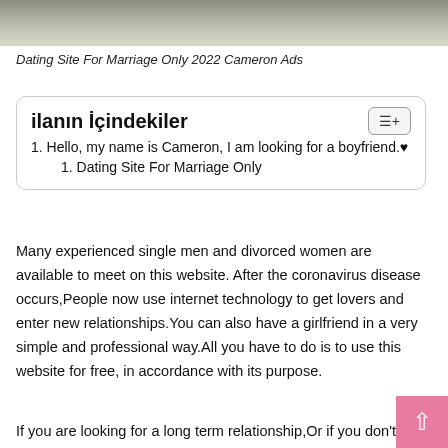[Figure (photo): Blurred gray textured background header image]
Dating Site For Marriage Only 2022 Cameron Ads
ilanın İçindekiler
1. Hello, my name is Cameron, I am looking for a boyfriend.♥
1. Dating Site For Marriage Only
Many experienced single men and divorced women are available to meet on this website. After the coronavirus disease occurs,People now use internet technology to get lovers and enter new relationships.You can also have a girlfriend in a very simple and professional way.All you have to do is to use this website for free, in accordance with its purpose.
If you are looking for a long term relationship,Or if you don't